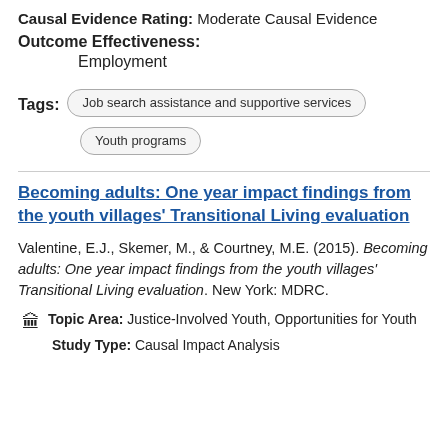Causal Evidence Rating: Moderate Causal Evidence
Outcome Effectiveness:
Employment
Tags: Job search assistance and supportive services | Youth programs
Becoming adults: One year impact findings from the youth villages' Transitional Living evaluation
Valentine, E.J., Skemer, M., & Courtney, M.E. (2015). Becoming adults: One year impact findings from the youth villages' Transitional Living evaluation. New York: MDRC.
Topic Area: Justice-Involved Youth, Opportunities for Youth
Study Type: Causal Impact Analysis